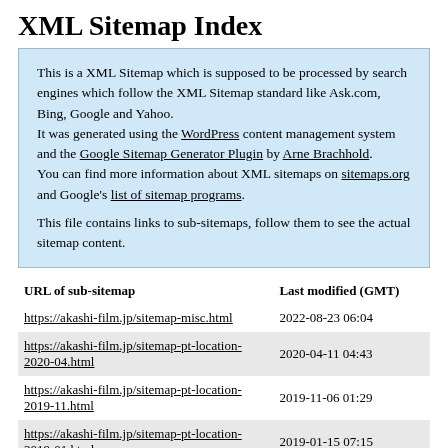XML Sitemap Index
This is a XML Sitemap which is supposed to be processed by search engines which follow the XML Sitemap standard like Ask.com, Bing, Google and Yahoo.
It was generated using the WordPress content management system and the Google Sitemap Generator Plugin by Arne Brachhold.
You can find more information about XML sitemaps on sitemaps.org and Google's list of sitemap programs.

This file contains links to sub-sitemaps, follow them to see the actual sitemap content.
| URL of sub-sitemap | Last modified (GMT) |
| --- | --- |
| https://akashi-film.jp/sitemap-misc.html | 2022-08-23 06:04 |
| https://akashi-film.jp/sitemap-pt-location-2020-04.html | 2020-04-11 04:43 |
| https://akashi-film.jp/sitemap-pt-location-2019-11.html | 2019-11-06 01:29 |
| https://akashi-film.jp/sitemap-pt-location-2019-01.html | 2019-01-15 07:15 |
| https://akashi-film.jp/sitemap-pt-location-2018-01.html | 2018-04-14 03:32 |
| https://akashi-film.jp/sitemap-pt-location-2017-04.html | 2018-01-23 20:24 |